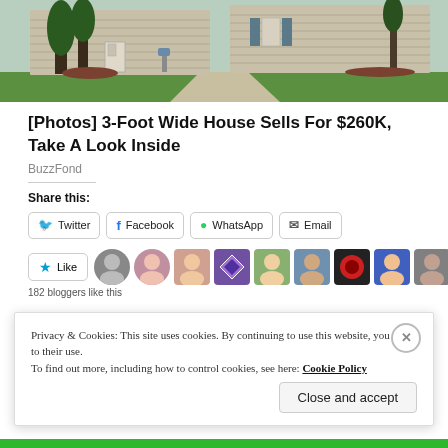[Figure (photo): Exterior photo of a suburban house with green lawn, trees, siding, and front door]
[Photos] 3-Foot Wide House Sells For $260K, Take A Look Inside
BuzzFond
Share this:
[Figure (screenshot): Social share buttons: Twitter, Facebook, WhatsApp, Email]
[Figure (screenshot): Like button with star and row of user avatars, 182 bloggers like this]
Privacy & Cookies: This site uses cookies. By continuing to use this website, you agree to their use. To find out more, including how to control cookies, see here: Cookie Policy
Close and accept